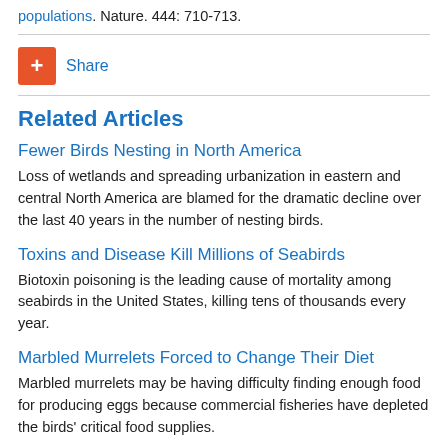populations. Nature. 444: 710-713.
+ Share
Related Articles
Fewer Birds Nesting in North America
Loss of wetlands and spreading urbanization in eastern and central North America are blamed for the dramatic decline over the last 40 years in the number of nesting birds.
Toxins and Disease Kill Millions of Seabirds
Biotoxin poisoning is the leading cause of mortality among seabirds in the United States, killing tens of thousands every year.
Marbled Murrelets Forced to Change Their Diet
Marbled murrelets may be having difficulty finding enough food for producing eggs because commercial fisheries have depleted the birds' critical food supplies.